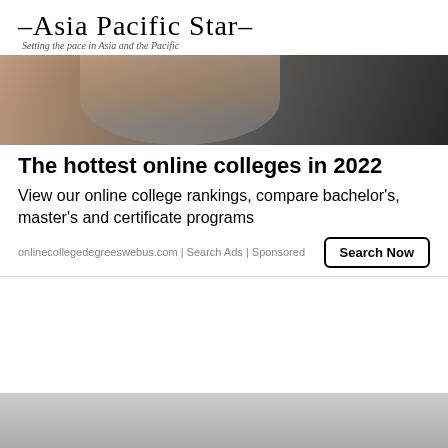–Asia Pacific Star– Setting the pace in Asia and the Pacific
[Figure (photo): A person in a black shirt with arms visible, dark background, appears to be at a desk or gym setting.]
The hottest online colleges in 2022
View our online college rankings, compare bachelor's, master's and certificate programs
onlinecollegedegreeswebus.com | Search Ads | Sponsored
Search Now